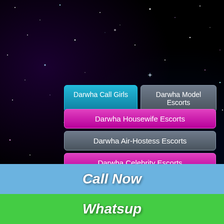[Figure (illustration): Dark starry night sky background with scattered star points in white, blue, and pink/purple colors.]
Darwha Call Girls
Darwha Model Escorts
Darwha Housewife Escorts
Darwha Air-Hostess Escorts
Darwha Celebrity Escorts
Darwha Teen Escorts
Darwha Punjabi Escorts
Darwha VIP Escorts
Darwha High Profile Escorts
Darwha South Indian Escorts
Darwha Kashmir Escorts
Call Now
Whatsup